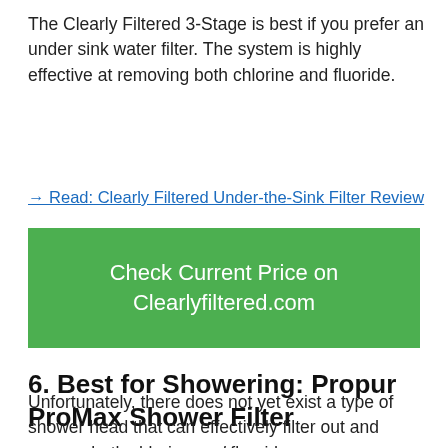The Clearly Filtered 3-Stage is best if you prefer an under sink water filter. The system is highly effective at removing both chlorine and fluoride.
→ Read: Clearly Filtered Under-the-Sink Filter Review
[Figure (other): Green call-to-action button with text 'Check Current Price on Clearlyfiltered.com']
6. Best for Showering: Propur ProMax Shower Filter
Unfortunately, there does not yet exist a type of shower head that can effectively filter out and remove both chlorine and fluoride – some companies believe they have shower filters that reduce fluoride and chlorine, but they haven't been found to be effective.